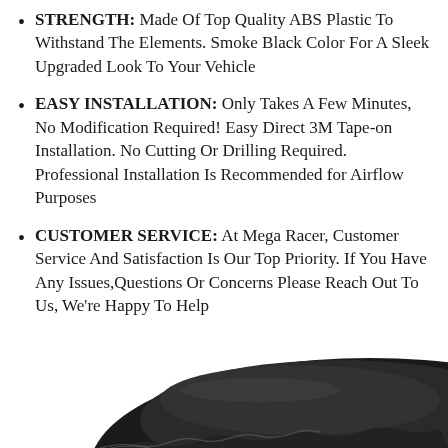STRENGTH: Made Of Top Quality ABS Plastic To Withstand The Elements. Smoke Black Color For A Sleek Upgraded Look To Your Vehicle
EASY INSTALLATION: Only Takes A Few Minutes, No Modification Required! Easy Direct 3M Tape-on Installation. No Cutting Or Drilling Required. Professional Installation Is Recommended for Airflow Purposes
CUSTOMER SERVICE: At Mega Racer, Customer Service And Satisfaction Is Our Top Priority. If You Have Any Issues,Questions Or Concerns Please Reach Out To Us, We're Happy To Help
[Figure (photo): Close-up photo of a black smoke-colored ABS plastic automotive wind deflector/vent visor product, viewed from above at an angle, showing its curved glossy surface against a white background.]